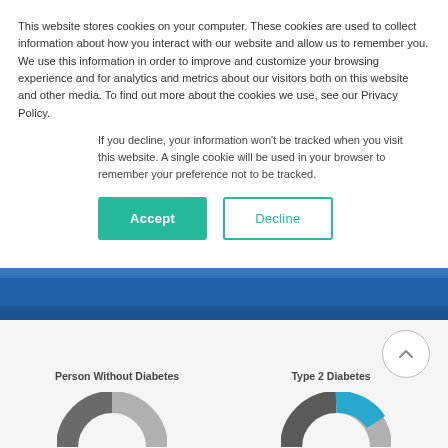This website stores cookies on your computer. These cookies are used to collect information about how you interact with our website and allow us to remember you. We use this information in order to improve and customize your browsing experience and for analytics and metrics about our visitors both on this website and other media. To find out more about the cookies we use, see our Privacy Policy.
If you decline, your information won't be tracked when you visit this website. A single cookie will be used in your browser to remember your preference not to be tracked.
Accept | Decline
[Figure (infographic): Blue navigation bar / website header band]
[Figure (other): Scroll-to-top circular button with upward chevron]
Person Without Diabetes
Type 2 Diabetes
[Figure (donut-chart): Two partial donut/pie charts at bottom of page comparing Person Without Diabetes and Type 2 Diabetes, shown in grey and blue colors, partially cropped]